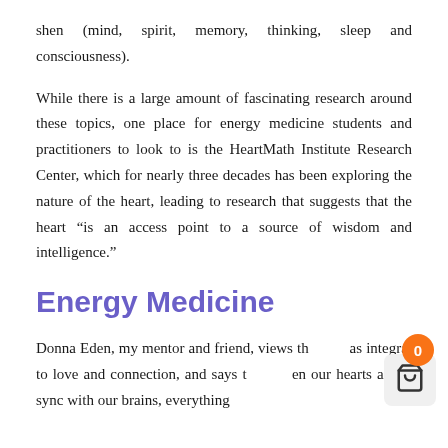shen (mind, spirit, memory, thinking, sleep and consciousness).
While there is a large amount of fascinating research around these topics, one place for energy medicine students and practitioners to look to is the HeartMath Institute Research Center, which for nearly three decades has been exploring the nature of the heart, leading to research that suggests that the heart “is an access point to a source of wisdom and intelligence.”
Energy Medicine
Donna Eden, my mentor and friend, views th… as integral to love and connection, and says t… en our hearts are in sync with our brains, everything